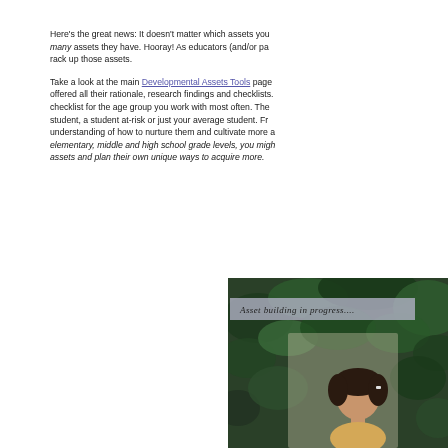Here's the great news:  It doesn't matter which assets you many assets they have.  Hooray!  As educators (and/or pa rack up those assets.

Take a look at the main Developmental Assets Tools page offered all their rationale, research findings and checklists. checklist for the age group you work with most often.  The student, a student at-risk or just your average student.  Fr understanding of how to nurture them and cultivate more a elementary, middle and high school grade levels, you migh assets and plan their own unique ways to acquire more.
[Figure (photo): Photo of a young child (girl) with dark hair outdoors among green foliage/plants. An overlay banner reads 'Asset building in progress....']